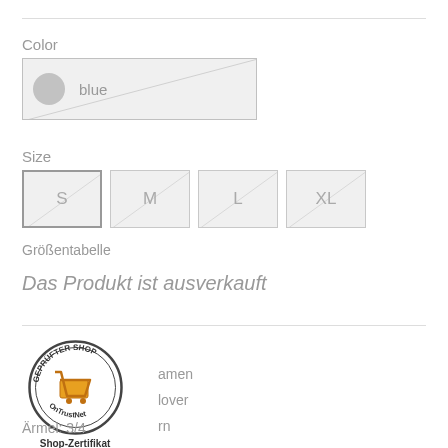Color
[Figure (other): Color selector showing 'blue' with a grey circle swatch and diagonal stripe overlay on grey background box]
Size
[Figure (other): Size selector buttons: S (selected/outlined), M, L, XL — all with diagonal stripe overlays on grey background]
Größentabelle
Das Produkt ist ausverkauft
[Figure (logo): Geprüfter Shop OnTrustNet badge — circular badge with shopping cart icon]
Shop-Zertifikat
232101421914
amen
lover
rn
Ärmel: 3/4